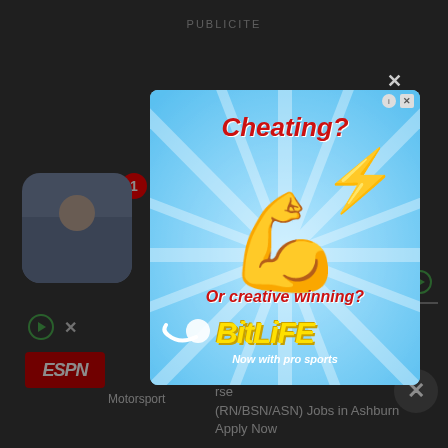PUBLICITE
[Figure (screenshot): Mobile app screenshot with dark background showing avatar, ad icons, ESPN logo, and text about nursing jobs in Ashburn]
[Figure (infographic): BitLife mobile game advertisement popup. Light blue background with sunrays. Large red italic text 'Cheating?' at top. Flexed arm emoji with lightning bolt in center. Red italic text 'Or creative winning?' below. Yellow 'BitLiFE' logo with sperm icon and white italic text 'Now with pro sports' at bottom. Close buttons in top right corner.]